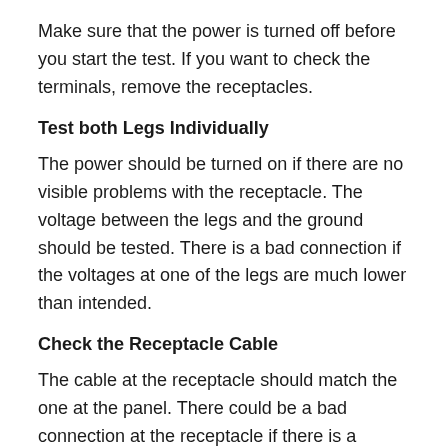Make sure that the power is turned off before you start the test. If you want to check the terminals, remove the receptacles.
Test both Legs Individually
The power should be turned on if there are no visible problems with the receptacle. The voltage between the legs and the ground should be tested. There is a bad connection if the voltages at one of the legs are much lower than intended.
Check the Receptacle Cable
The cable at the receptacle should match the one at the panel. There could be a bad connection at the receptacle if there is a different cable at the two ends.